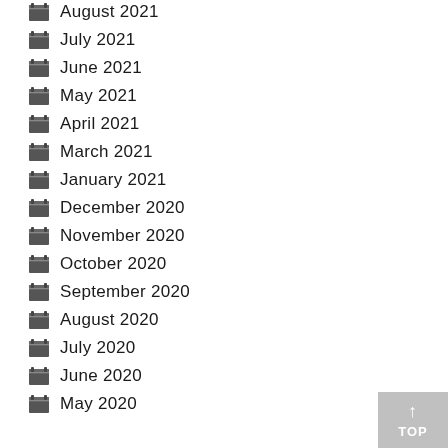August 2021
July 2021
June 2021
May 2021
April 2021
March 2021
January 2021
December 2020
November 2020
October 2020
September 2020
August 2020
July 2020
June 2020
May 2020